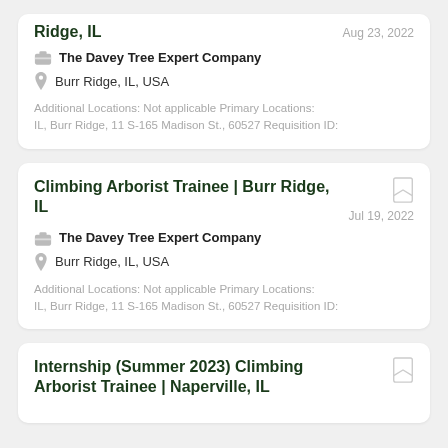Ridge, IL — Aug 23, 2022 — The Davey Tree Expert Company — Burr Ridge, IL, USA — Additional Locations: Not applicable Primary Locations: IL, Burr Ridge, 11 S-165 Madison St., 60527 Requisition ID:
Climbing Arborist Trainee | Burr Ridge, IL
Jul 19, 2022 — The Davey Tree Expert Company — Burr Ridge, IL, USA — Additional Locations: Not applicable Primary Locations: IL, Burr Ridge, 11 S-165 Madison St., 60527 Requisition ID:
Internship (Summer 2023) Climbing Arborist Trainee | Naperville, IL